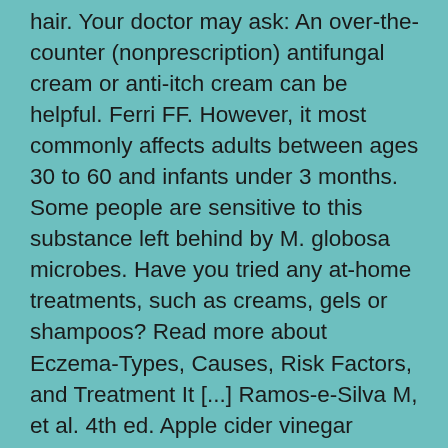hair. Your doctor may ask: An over-the-counter (nonprescription) antifungal cream or anti-itch cream can be helpful. Ferri FF. However, it most commonly affects adults between ages 30 to 60 and infants under 3 months. Some people are sensitive to this substance left behind by M. globosa microbes. Have you tried any at-home treatments, such as creams, gels or shampoos? Read more about Eczema-Types, Causes, Risk Factors, and Treatment It [...] Ramos-e-Silva M, et al. 4th ed. Apple cider vinegar contains malic acid. A cup of curd. The use of dermo-cosmetics as a complement to medications. However, Seborrheic Dermatitis isn't limited to the scalp. Even after treatment it can recur but you could manage the flare-ups if you are able to recognize the symptoms. The cream has a 5.5 pH, thus making it an ideal solution for the treatment of seborrheic dermatitis. Treatment is suppressive rather than curative, and as such, seborrhoeic dermatitis often comes back after treatment has stopped. If home remedies don't help, talk with your doctor about